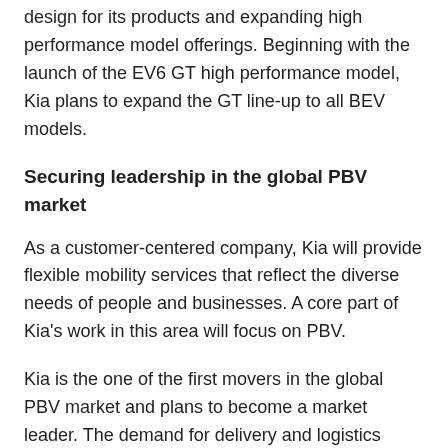design for its products and expanding high performance model offerings. Beginning with the launch of the EV6 GT high performance model, Kia plans to expand the GT line-up to all BEV models.
Securing leadership in the global PBV market
As a customer-centered company, Kia will provide flexible mobility services that reflect the diverse needs of people and businesses. A core part of Kia's work in this area will focus on PBV.
Kia is the one of the first movers in the global PBV market and plans to become a market leader. The demand for delivery and logistics services has increased significantly following the acceleration in e-commerce during the